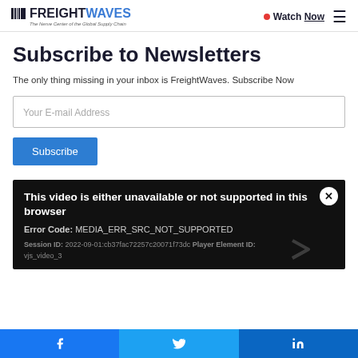FREIGHTWAVES — The Nerve Center of the Global Supply Chain | Watch Now
Subscribe to Newsletters
The only thing missing in your inbox is FreightWaves. Subscribe Now
Your E-mail Address
Subscribe
[Figure (screenshot): Video player error panel on dark background showing: 'This video is either unavailable or not supported in this browser'. Error Code: MEDIA_ERR_SRC_NOT_SUPPORTED. Session ID: 2022-09-01:cb37fac72257c20071f73dc Player Element ID: vjs_video_3]
Facebook | Twitter | LinkedIn social share bar